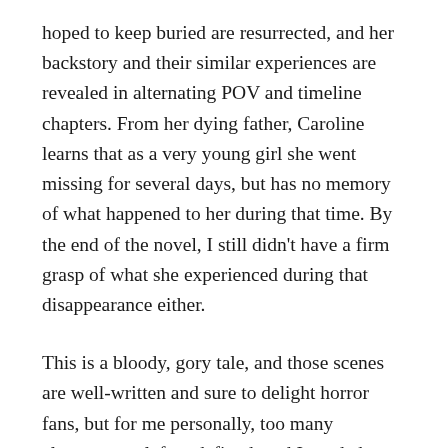hoped to keep buried are resurrected, and her backstory and their similar experiences are revealed in alternating POV and timeline chapters. From her dying father, Caroline learns that as a very young girl she went missing for several days, but has no memory of what happened to her during that time. By the end of the novel, I still didn't have a firm grasp of what she experienced during that disappearance either.
This is a bloody, gory tale, and those scenes are well-written and sure to delight horror fans, but for me personally, too many elements are left undefined, and I needed more of a concrete explanation for what happens to Caroline and Lila. Were their experiences real? Just delusions? I'm not certain. Reviews are